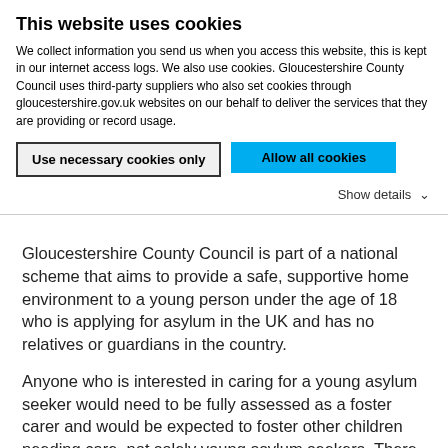This website uses cookies
We collect information you send us when you access this website, this is kept in our internet access logs. We also use cookies. Gloucestershire County Council uses third-party suppliers who also set cookies through gloucestershire.gov.uk websites on our behalf to deliver the services that they are providing or record usage.
Use necessary cookies only
Allow all cookies
Show details
Gloucestershire County Council is part of a national scheme that aims to provide a safe, supportive home environment to a young person under the age of 18 who is applying for asylum in the UK and has no relatives or guardians in the country.
Anyone who is interested in caring for a young asylum seeker would need to be fully assessed as a foster carer and would be expected to foster other children needing care, not solely young asylum seekers. There is